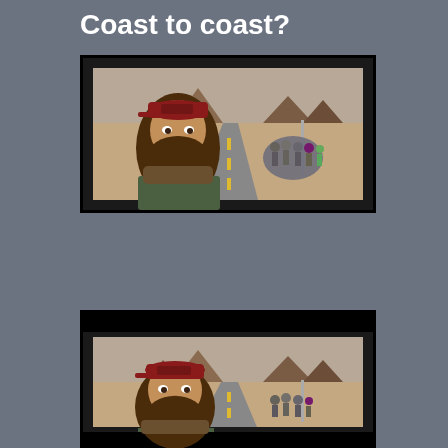Coast to coast?
[Figure (photo): Movie still from Forrest Gump showing a bearded man with long hair wearing a red baseball cap in the foreground, with a group of people following him on a desert highway with mesa rock formations in the background.]
How long would it take to run across Canada?
[Figure (photo): Partial view of the same Forrest Gump movie still, cropped to show the top portion with the bearded man in the red cap and followers on the desert road.]